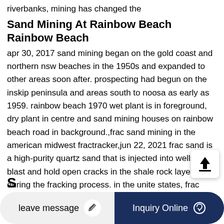riverbanks, mining has changed the
Sand Mining At Rainbow Beach Rainbow Beach
apr 30, 2017 sand mining began on the gold coast and northern nsw beaches in the 1950s and expanded to other areas soon after. prospecting had begun on the inskip peninsula and areas south to noosa as early as 1959. rainbow beach 1970 wet plant is in foreground, dry plant in centre and sand mining houses on rainbow beach road in background.,frac sand mining in the american midwest fractracker,jun 22, 2021 frac sand is a high-purity quartz sand that is injected into wells to blast and hold open cracks in the shale rock layer during the fracking process. in the unite states, frac sand is being mined intensively from sandstone deposits across large swaths of land in
[Figure (other): Upload/share button overlay icon with upward arrow and horizontal bar]
leave message   Inquiry Online